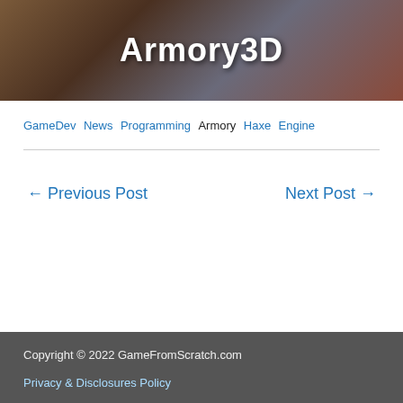[Figure (photo): Hero banner image showing 3D characters and objects with 'Armory3D' text overlay in white bold font on a dark background]
GameDev News Programming Armory Haxe Engine
← Previous Post    Next Post →
Copyright © 2022 GameFromScratch.com
Privacy & Disclosures Policy